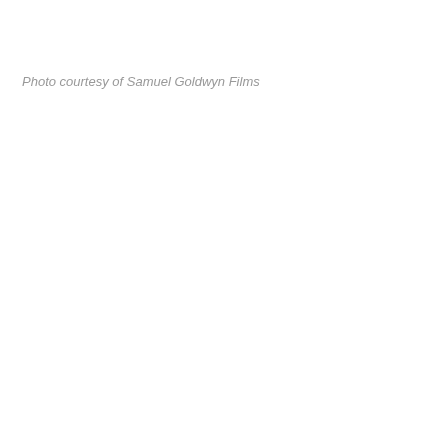Photo courtesy of Samuel Goldwyn Films